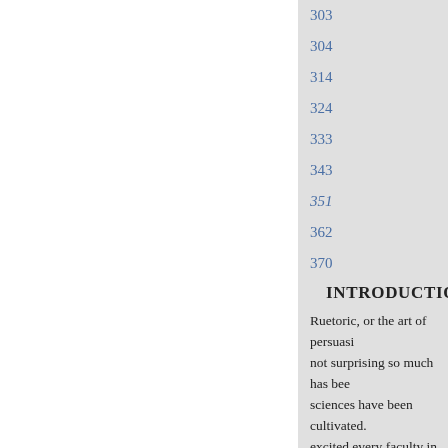303
304
314
324
333
343
351
362
370
INTRODUCTION.
Ruetoric, or the art of persuasi- not surprising so much has bee- sciences have been cultivated. excited every faculty in the mi- and persuasion, which give us
The ancients have left us everl- endeavours to investigate the p- and insignificant : but that bra- the third part of it, and which-